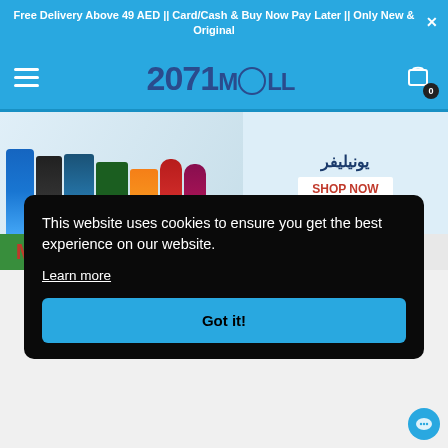Free Delivery Above 49 AED || Card/Cash & Buy Now Pay Later || Only New & Original
[Figure (screenshot): 2071 Mall website navigation bar with hamburger menu, 2071MALL logo in dark blue, and shopping cart icon with badge showing 0]
[Figure (screenshot): Unilever promotional banner showing various household and food products (detergent, shampoo, Knorr, Lipton, sauces) on left, Arabic Unilever logo and SHOP NOW button on right]
This website uses cookies to ensure you get the best experience on our website.
Learn more
Got it!